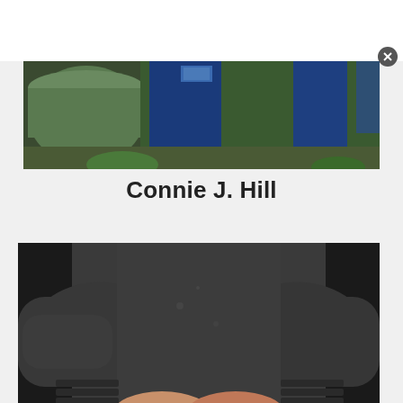[Figure (photo): Partial view of person's lower body wearing blue jeans, standing outdoors near a green metal tub/barrel with vegetation in the background.]
Connie J. Hill
[Figure (photo): Close-up of a person's torso wearing a dark gray/charcoal sweatshirt, arms crossed in front, hands visible at waist level.]